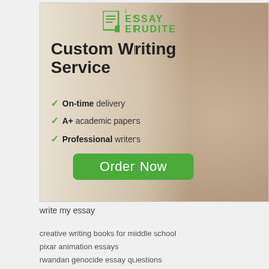[Figure (infographic): iEssayErudite advertisement banner showing a student studying with text: Custom Writing Service, On-time delivery, A+ academic papers, Professional writers, and an Order Now button]
write my essay
creative writing books for middle school
pixar animation essays
rwandan genocide essay questions
dbq essay new england vs chesapeake